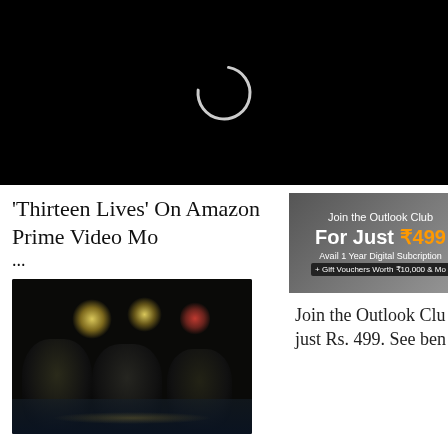[Figure (screenshot): Black video loading screen with a white circular spinner ring in the center]
'Thirteen Lives' On Amazon Prime Video Mo ...
[Figure (photo): Three cave divers/rescuers with headlamps in dark flooded cave, partially submerged in water]
[Figure (screenshot): Advertisement banner: Join the Outlook Club For Just ₹499 - Avail 1 Year Digital Subscription + Gift Vouchers Worth ₹10,000 & Mo]
Join the Outlook Clu just Rs. 499. See ben